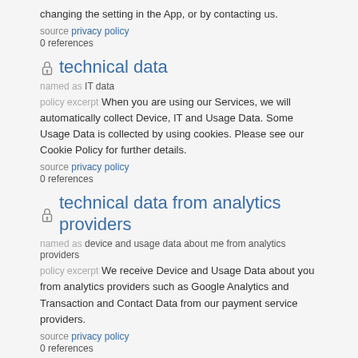changing the setting in the App, or by contacting us.
source privacy policy
0 references
technical data
named as IT data
policy excerpt When you are using our Services, we will automatically collect Device, IT and Usage Data. Some Usage Data is collected by using cookies. Please see our Cookie Policy for further details.
source privacy policy
0 references
technical data from analytics providers
named as device and usage data about me from analytics providers
policy excerpt We receive Device and Usage Data about you from analytics providers such as Google Analytics and Transaction and Contact Data from our payment service providers.
source privacy policy
0 references
data from payment partners
named as transaction and contact data from payment service providers
policy excerpt We receive Device and Usage Data about you from analytics providers such as Google Analytics and Transaction and Contact Data from our payment service providers.